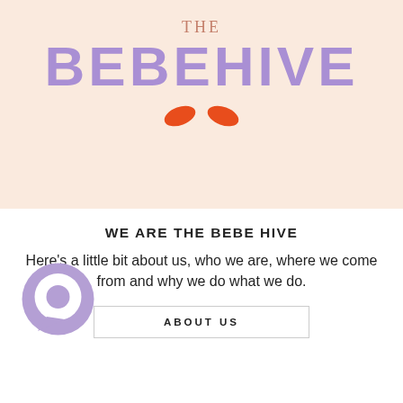[Figure (logo): The Bebehive logo on peach/beige background. Large purple bold 'BEBEHIVE' text with scalloped edges, 'THE' in small terracotta serif above it, orange curved cheek marks forming a smile face, and curved text 'FUN FOR EVERY IMAGINATION' below in a smile arc in terracotta color.]
WE ARE THE BEBE HIVE
Here's a little bit about us, who we are, where we come from and why we do what we do.
ABOUT US
[Figure (illustration): Purple speech bubble / chat icon circle in bottom left corner]